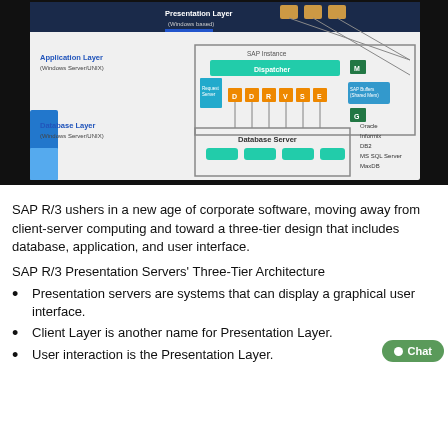[Figure (schematic): SAP R/3 three-tier architecture diagram showing Presentation Layer (Windows based), Application Layer (Windows Server/UNIX) with SAP Instance containing Dispatcher, work processes (D, D, R, V, S, E), SAP Buffers, and Database Layer (Windows Server/UNIX) with Database Server. Compatible databases listed: Oracle, Informix, DB2, MS SQL Server, MaxDB.]
SAP R/3 ushers in a new age of corporate software, moving away from client-server computing and toward a three-tier design that includes database, application, and user interface.
SAP R/3 Presentation Servers' Three-Tier Architecture
Presentation servers are systems that can display a graphical user interface.
Client Layer is another name for Presentation Layer.
User interaction is the Presentation Layer.